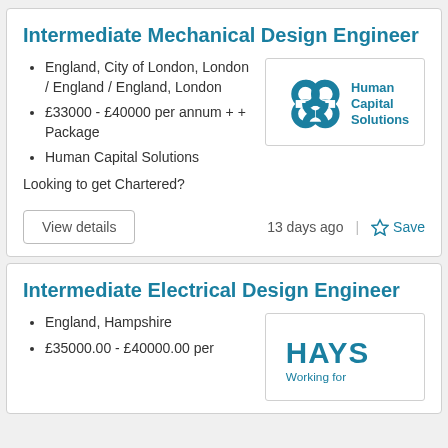Intermediate Mechanical Design Engineer
England, City of London, London / England / England, London
£33000 - £40000 per annum + + Package
Human Capital Solutions
Looking to get Chartered?
View details   13 days ago   Save
Intermediate Electrical Design Engineer
England, Hampshire
£35000.00 - £40000.00 per